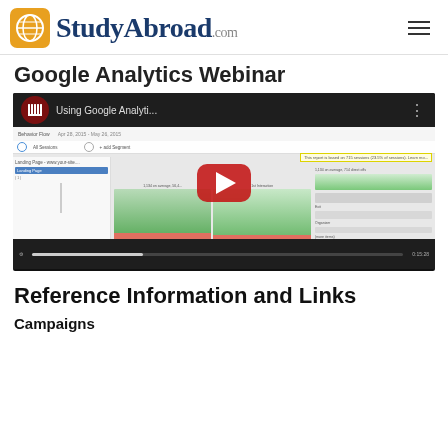StudyAbroad.com
Google Analytics Webinar
[Figure (screenshot): YouTube video thumbnail showing 'Using Google Analyti...' with a Google Analytics Behavior Flow screenshot in the background and a red play button overlay]
Reference Information and Links
Campaigns